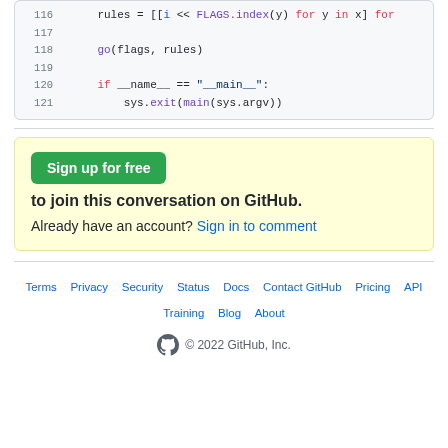[Figure (screenshot): Code snippet showing Python lines 116-121 with syntax highlighting. Line 116: rules = [[i << FLAGS.index(y) for y in x] for (truncated). Line 117: (blank). Line 118: go(flags, rules). Line 119: (blank). Line 120: if __name__ == "__main__":. Line 121: sys.exit(main(sys.argv))]
Sign up for free to join this conversation on GitHub.
Already have an account? Sign in to comment
Terms · Privacy · Security · Status · Docs · Contact GitHub · Pricing · API · Training · Blog · About · © 2022 GitHub, Inc.